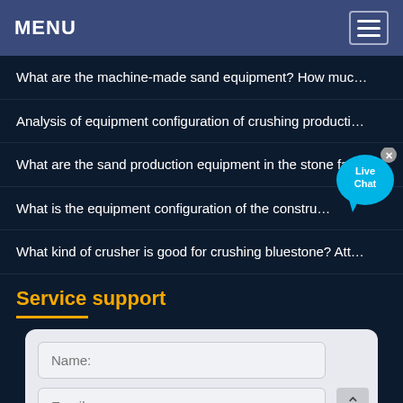MENU
What are the machine-made sand equipment? How muc…
Analysis of equipment configuration of crushing producti…
What are the sand production equipment in the stone fa…
What is the equipment configuration of the constru…
What kind of crusher is good for crushing bluestone? Att…
Service support
[Figure (screenshot): Live Chat bubble icon with close button]
Name: (input field)
Email: (input field)
Phone: (input field)